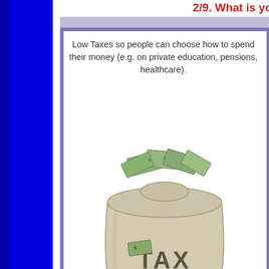2/9. What is yo...
Low Taxes so people can choose how to spend their money (e.g. on private education, pensions, healthcare).
[Figure (illustration): A cloth money bag labeled 'TAX' overflowing with bank notes/money]
Left
Are you le...
What is your position on tax? High taxes to pay for lots of public services (e.g. free education, pensions, healthcare) especially for the disadvantaged people (the poor, the sick, the old).
This is the most important issue of all because I believe that people should live in a happy environment...
Are you in favour of a "Human Rights Act"? Yes, all humans should be able to enjoy the same fundamental rights
What is your ... nature? People produc... co-operative...